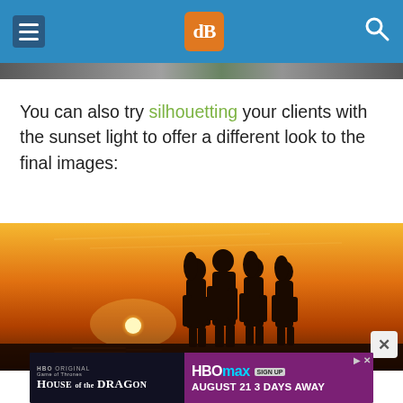dPS navigation header
[Figure (screenshot): Partial banner image strip at top of article]
You can also try silhouetting your clients with the sunset light to offer a different look to the final images:
[Figure (photo): Silhouette of four people standing on a beach against a vivid orange sunset, with the sun low on the horizon over the water]
[Figure (other): HBO Max advertisement banner for House of the Dragon - August 21, 3 Days Away, Sign Up]